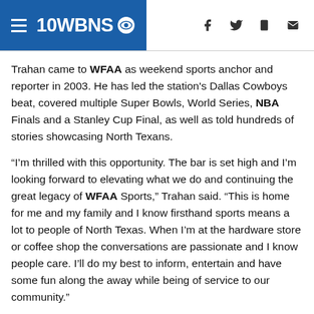10WBNS CBS
Trahan came to WFAA as weekend sports anchor and reporter in 2003. He has led the station's Dallas Cowboys beat, covered multiple Super Bowls, World Series, NBA Finals and a Stanley Cup Final, as well as told hundreds of stories showcasing North Texans.
“I’m thrilled with this opportunity. The bar is set high and I’m looking forward to elevating what we do and continuing the great legacy of WFAA Sports,” Trahan said. “This is home for me and my family and I know firsthand sports means a lot to people of North Texas. When I’m at the hardware store or coffee shop the conversations are passionate and I know people care. I’ll do my best to inform, entertain and have some fun along the away while being of service to our community.”
Trahan has won 15 Lone Star Emmy Awards, receiving the honor for six consecutive years in the sports reporter